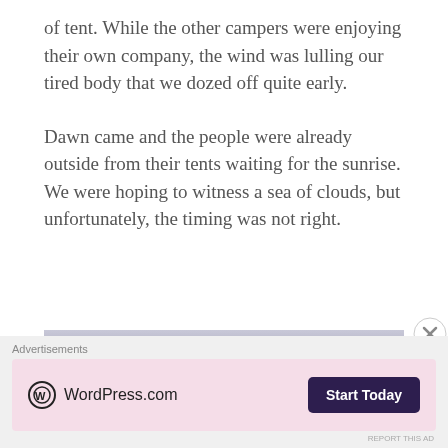of tent. While the other campers were enjoying their own company, the wind was lulling our tired body that we dozed off quite early.
Dawn came and the people were already outside from their tents waiting for the sunrise. We were hoping to witness a sea of clouds, but unfortunately, the timing was not right.
[Figure (photo): A landscape photo showing a mountain silhouette against a hazy dawn or dusk sky with pinkish-grey tones]
Advertisements
[Figure (other): WordPress.com advertisement banner with logo and Start Today button on pink background]